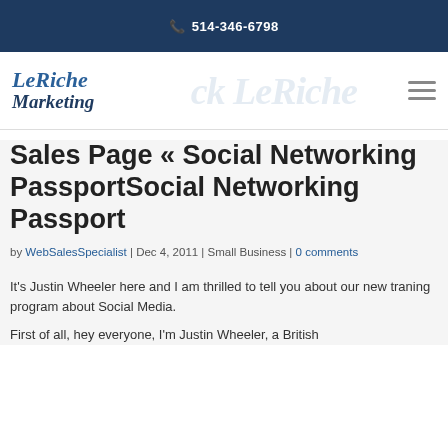📞 514-346-6798
[Figure (logo): LeRiche Marketing logo with text 'LeRiche Marketing' in blue italic serif font]
Sales Page « Social Networking PassportSocial Networking Passport
by WebSalesSpecialist | Dec 4, 2011 | Small Business | 0 comments
It's Justin Wheeler here and I am thrilled to tell you about our new traning program about Social Media.
First of all, hey everyone, I'm Justin Wheeler, a British